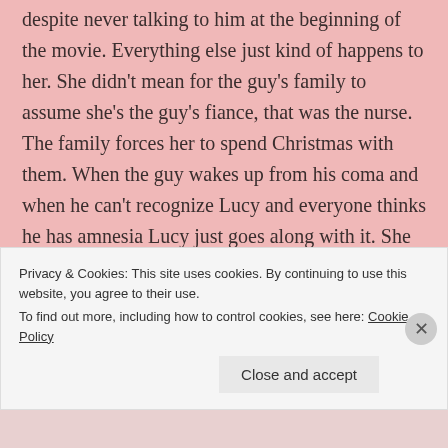despite never talking to him at the beginning of the movie. Everything else just kind of happens to her. She didn't mean for the guy's family to assume she's the guy's fiance, that was the nurse. The family forces her to spend Christmas with them. When the guy wakes up from his coma and when he can't recognize Lucy and everyone thinks he has amnesia Lucy just goes along with it. She doesn't make any decision of her own until the wedding. She waits until the wedding of the guy she's not even actually engaged to-to finally make her choice in the movie. While You Were Sleeping was
Privacy & Cookies: This site uses cookies. By continuing to use this website, you agree to their use.
To find out more, including how to control cookies, see here: Cookie Policy
Close and accept